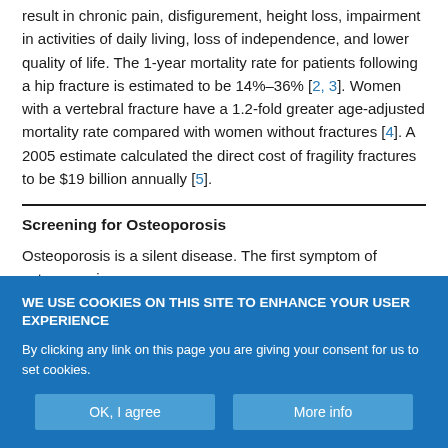result in chronic pain, disfigurement, height loss, impairment in activities of daily living, loss of independence, and lower quality of life. The 1-year mortality rate for patients following a hip fracture is estimated to be 14%–36% [2, 3]. Women with a vertebral fracture have a 1.2-fold greater age-adjusted mortality rate compared with women without fractures [4]. A 2005 estimate calculated the direct cost of fragility fractures to be $19 billion annually [5].
Screening for Osteoporosis
Osteoporosis is a silent disease. The first symptom of osteoporosis
WE USE COOKIES ON THIS SITE TO ENHANCE YOUR USER EXPERIENCE
By clicking any link on this page you are giving your consent for us to set cookies.